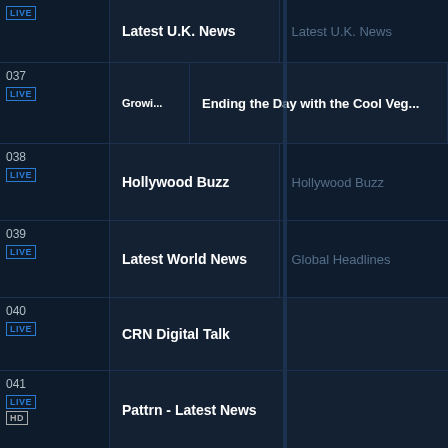| Channel | Current Program | Next Program |
| --- | --- | --- |
|  | Latest U.K. News | Latest U.K. News |
| 037 | Growi... | Ending the Day with the Cool Veg... |
| 038 | Hollywood Buzz | Hollywood Buzz |
| 039 | Latest World News | Global Headlines |
| 040 | CRN Digital Talk |  |
| 041 | Pattrn - Latest News |  |
| 042 | Zoomin Entertainment | Zoomin Entertainment |